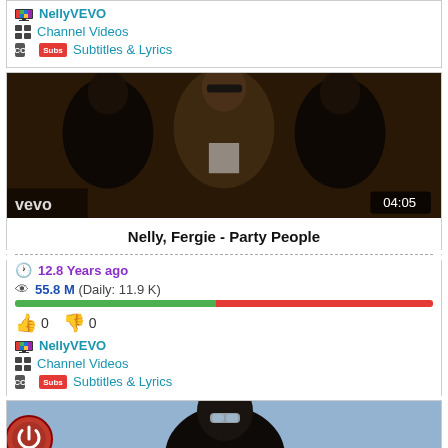[Figure (screenshot): Top partial card showing NellyVEVO channel links with icons for Channel Videos and Subtitles & Lyrics]
NellyVEVO
Channel Videos
Subtitles & Lyrics
[Figure (photo): Video thumbnail showing Nelly, Fergie - Party People music video with three men in black, duration 04:05]
Nelly, Fergie - Party People
12.8 Years ago
55.8 M (Daily: 11.9 K)
0  0
NellyVEVO
Channel Videos
Subtitles & Lyrics
[Figure (photo): Bottom partial card showing a man with reflective sunglasses against a light blue background]